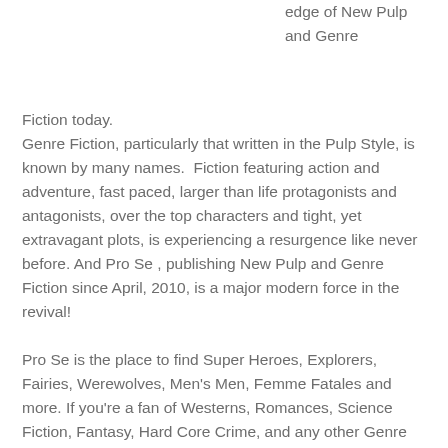edge of New Pulp and Genre Fiction today.
Genre Fiction, particularly that written in the Pulp Style, is known by many names.  Fiction featuring action and adventure, fast paced, larger than life protagonists and antagonists, over the top characters and tight, yet extravagant plots, is experiencing a resurgence like never before. And Pro Se , publishing New Pulp and Genre Fiction since April, 2010, is a major modern force in the revival!

Pro Se is the place to find Super Heroes, Explorers, Fairies, Werewolves, Men's Men, Femme Fatales and more. If you're a fan of Westerns, Romances, Science Fiction, Fantasy, Hard Core Crime, and any other Genre available, Pro Se has what you want to read. Specializing in prose books, anthologies, magazines, audiobooks, and more, Pro Se has made a commitment to 'Put the Monthly Book into Pulp' and